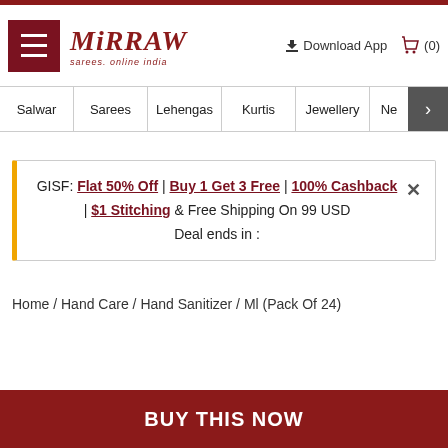Mirraw - sarees, online india | Download App | (0)
Salwar | Sarees | Lehengas | Kurtis | Jewellery | Ne
GISF: Flat 50% Off | Buy 1 Get 3 Free | 100% Cashback | $1 Stitching & Free Shipping On 99 USD
Deal ends in :
Home / Hand Care / Hand Sanitizer / Ml (Pack Of 24)
BUY THIS NOW